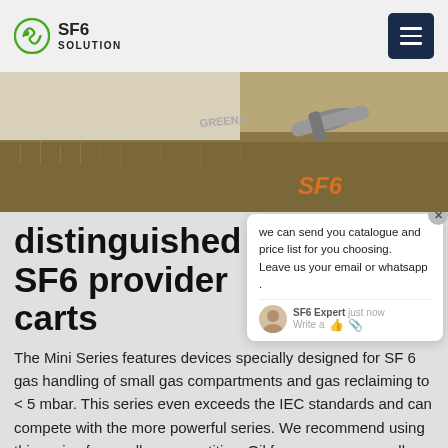SF6 SOLUTION
[Figure (photo): Hero image showing SF6 gas handling equipment on dried grass, with orange stylized text 'SF6' overlay in bottom right]
distinguished SF6 provider carts
The Mini Series features devices specially designed for SF 6 gas handling of small gas compartments and gas reclaiming to < 5 mbar. This series even exceeds the IEC standards and can compete with the more powerful series. We recommend using this series for small gas quantities. Oil free compressors allow gas handling without contamination by oil